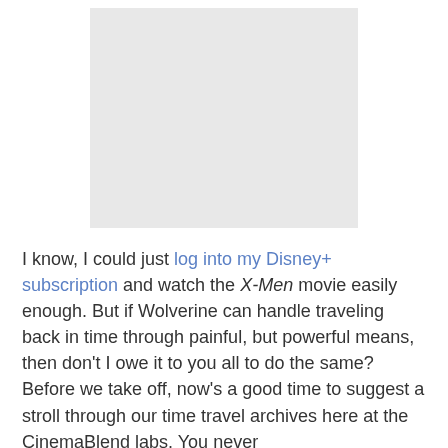[Figure (photo): Gray placeholder image box representing a photo or video thumbnail]
I know, I could just log into my Disney+ subscription and watch the X-Men movie easily enough. But if Wolverine can handle traveling back in time through painful, but powerful means, then don't I owe it to you all to do the same? Before we take off, now's a good time to suggest a stroll through our time travel archives here at the CinemaBlend labs. You never